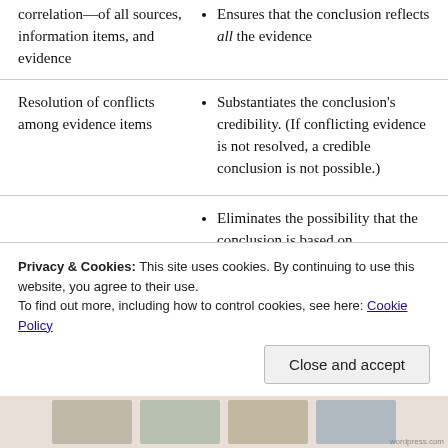correlation—of all sources, information items, and evidence
Ensures that the conclusion reflects all the evidence
Resolution of conflicts among evidence items
Substantiates the conclusion's credibility. (If conflicting evidence is not resolved, a credible conclusion is not possible.)
Eliminates the possibility that the conclusion is based on
Privacy & Cookies: This site uses cookies. By continuing to use this website, you agree to their use.
To find out more, including how to control cookies, see here: Cookie Policy
Close and accept